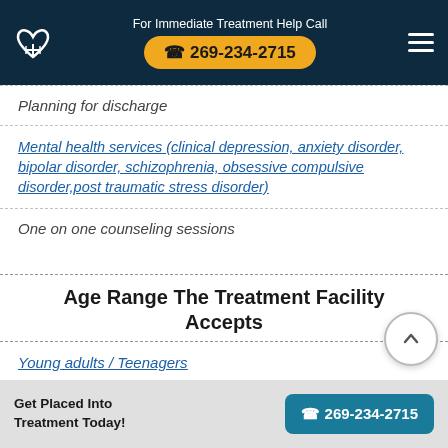For Immediate Treatment Help Call 269-234-2715
Planning for discharge
Mental health services (clinical depression, anxiety disorder, bipolar disorder, schizophrenia, obsessive compulsive disorder, post traumatic stress disorder)
One on one counseling sessions
Age Range The Treatment Facility Accepts
Young adults / Teenagers
Get Placed Into Treatment Today! 269-234-2715